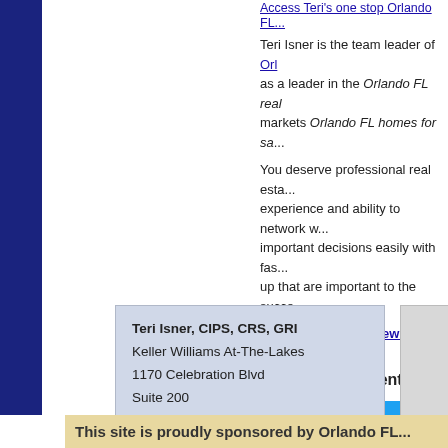Access Teri's one stop Orlando FL...
Teri Isner is the team leader of Orlando... as a leader in the Orlando FL real... markets Orlando FL homes for sa...
You deserve professional real esta... experience and ability to network w... important decisions easily with fas... up that are important to the succe...
Get Orlando Daily News delivere...
Google+ Comments
[Figure (other): Social share buttons: Facebook Share, Twitter Tweet, Email]
Tags: Essential Oils, home sellers..., Isner
Posted in Home Tips from Teri, Or...
Teri Isner, CIPS, CRS, GRI
Keller Williams At-The-Lakes
1170 Celebration Blvd
Suite 200
Celebration, Fl 34747
This site is proudly sponsored by Orlando FL...